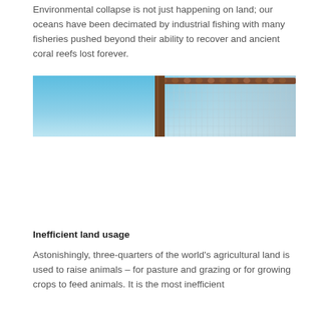Environmental collapse is not just happening on land; our oceans have been decimated by industrial fishing with many fisheries pushed beyond their ability to recover and ancient coral reefs lost forever.
[Figure (photo): A wide horizontal photograph showing a fishing net hanging against a clear blue sky, with wooden or cork floats visible along the top edge of the net.]
Inefficient land usage
Astonishingly, three-quarters of the world's agricultural land is used to raise animals – for pasture and grazing or for growing crops to feed animals. It is the most inefficient